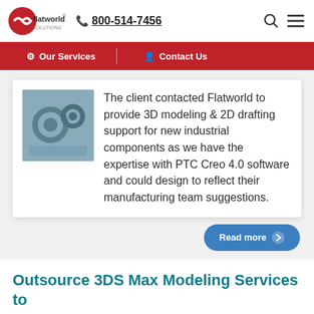flatworld solutions | 800-514-7456
[Figure (screenshot): Navigation bar with 'Our Services' and 'Contact Us' links on red background]
[Figure (photo): Industrial component photo thumbnail]
The client contacted Flatworld to provide 3D modeling & 2D drafting support for new industrial components as we have the expertise with PTC Creo 4.0 software and could design to reflect their manufacturing team suggestions.
Outsource 3DS Max Modeling Services to